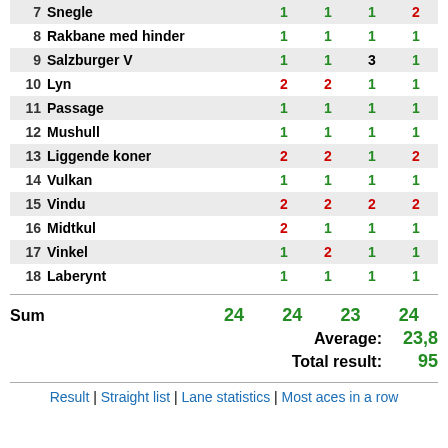| # | Name | C1 | C2 | C3 | C4 |
| --- | --- | --- | --- | --- | --- |
| 7 | Snegle | 1 | 1 | 1 | 2 |
| 8 | Rakbane med hinder | 1 | 1 | 1 | 1 |
| 9 | Salzburger V | 1 | 1 | 3 | 1 |
| 10 | Lyn | 2 | 2 | 1 | 1 |
| 11 | Passage | 1 | 1 | 1 | 1 |
| 12 | Mushull | 1 | 1 | 1 | 1 |
| 13 | Liggende koner | 2 | 2 | 1 | 2 |
| 14 | Vulkan | 1 | 1 | 1 | 1 |
| 15 | Vindu | 2 | 2 | 2 | 2 |
| 16 | Midtkul | 2 | 1 | 1 | 1 |
| 17 | Vinkel | 1 | 2 | 1 | 1 |
| 18 | Laberynt | 1 | 1 | 1 | 1 |
Sum  24  24  23  24
Average: 23,8
Total result: 95
Result | Straight list | Lane statistics | Most aces in a row